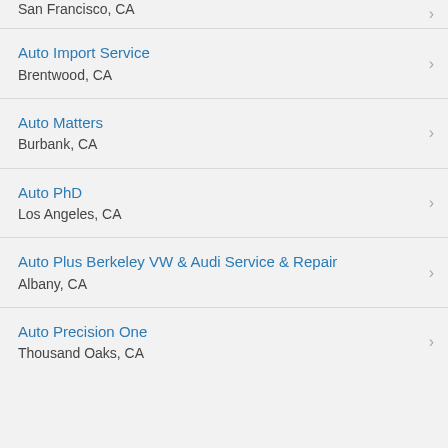San Francisco, CA
Auto Import Service
Brentwood, CA
Auto Matters
Burbank, CA
Auto PhD
Los Angeles, CA
Auto Plus Berkeley VW & Audi Service & Repair
Albany, CA
Auto Precision One
Thousand Oaks, CA